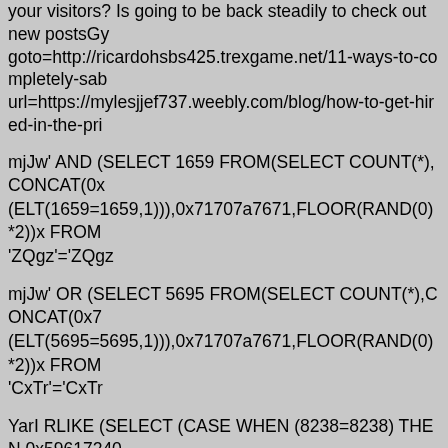your visitors? Is going to be back steadily to check out new postsGy goto=http://ricardohsbs425.trexgame.net/11-ways-to-completely-sab url=https://mylesjjef737.weebly.com/blog/how-to-get-hired-in-the-pri
mjJw' AND (SELECT 1659 FROM(SELECT COUNT(*),CONCAT(0x (ELT(1659=1659,1))),0x71707a7671,FLOOR(RAND(0)*2))x FROM 'ZQgz'='ZQgz
mjJw' OR (SELECT 5695 FROM(SELECT COUNT(*),CONCAT(0x7 (ELT(5695=5695,1))),0x71707a7671,FLOOR(RAND(0)*2))x FROM 'CxTr'='CxTr
YarI RLIKE (SELECT (CASE WHEN (8238=8238) THEN 0x596172 4
mjJw' AND EXTRACTVALUE(8529,CONCAT(0x5c,0x7176717671,( 'diEX'='diEX
mjJw' OR EXTRACTVALUE(7221,CONCAT(0x5c,0x7176717671,(S 'bUzf'='bUzf
YarI RLIKE (SELECT (CASE WHEN (8337=1635) THEN 0x596172 4
mjJw' AND UPDATEXML(6305,CONCAT(0x2e,0x7176717671,(SEL 'OtOT'='OtOT
YarI RLIKE (SELECT (CASE WHEN (8238=8238) THEN 0x596172 4